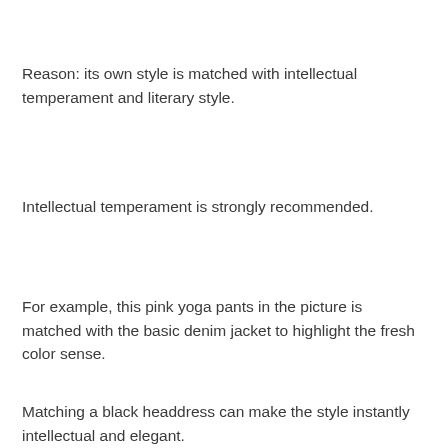Reason: its own style is matched with intellectual temperament and literary style.
Intellectual temperament is strongly recommended.
For example, this pink yoga pants in the picture is matched with the basic denim jacket to highlight the fresh color sense.
Matching a black headdress can make the style instantly intellectual and elegant.